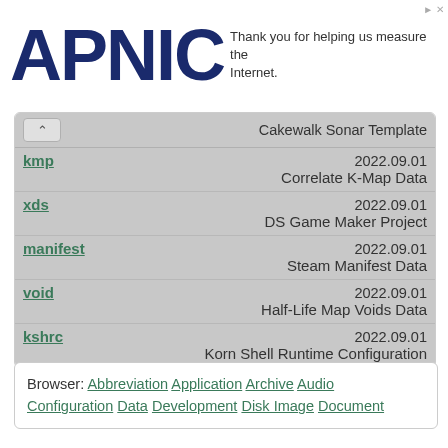APNIC — Thank you for helping us measure the Internet.
| Extension | Date | Description |
| --- | --- | --- |
| (Cakewalk Sonar Template) |  |  |
| kmp | 2022.09.01 | Correlate K-Map Data |
| xds | 2022.09.01 | DS Game Maker Project |
| manifest | 2022.09.01 | Steam Manifest Data |
| void | 2022.09.01 | Half-Life Map Voids Data |
| kshrc | 2022.09.01 | Korn Shell Runtime Configuration |
Browser: Abbreviation Application Archive Audio Configuration Data Development Disk Image Document